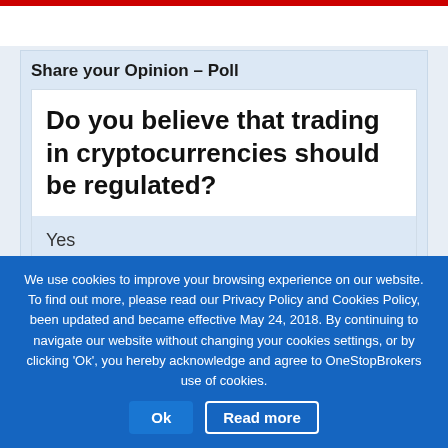Share your Opinion – Poll
Do you believe that trading in cryptocurrencies should be regulated?
Yes
We use cookies to improve your browsing experience on our website. To find out more, please read our Privacy Policy and Cookies Policy, been updated and became effective May 24, 2018. By continuing to navigate our website without changing your cookies settings, or by clicking 'Ok', you hereby acknowledge and agree to OneStopBrokers use of cookies.